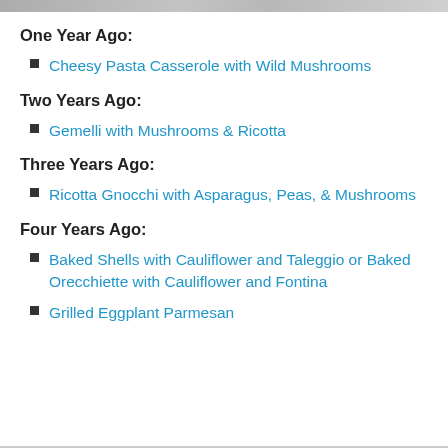[Figure (photo): Partial photo strip at top of page]
One Year Ago:
Cheesy Pasta Casserole with Wild Mushrooms
Two Years Ago:
Gemelli with Mushrooms & Ricotta
Three Years Ago:
Ricotta Gnocchi with Asparagus, Peas, & Mushrooms
Four Years Ago:
Baked Shells with Cauliflower and Taleggio or Baked Orecchiette with Cauliflower and Fontina
Grilled Eggplant Parmesan